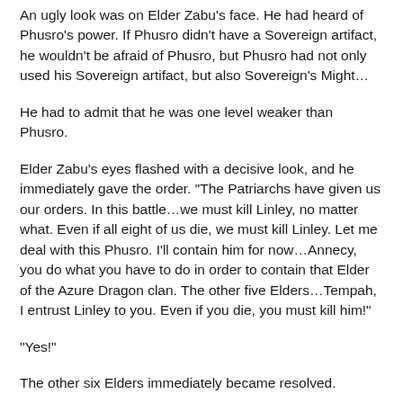An ugly look was on Elder Zabu’s face. He had heard of Phusro’s power. If Phusro didn’t have a Sovereign artifact, he wouldn’t be afraid of Phusro, but Phusro had not only used his Sovereign artifact, but also Sovereign’s Might…
He had to admit that he was one level weaker than Phusro.
Elder Zabu’s eyes flashed with a decisive look, and he immediately gave the order. “The Patriarchs have given us our orders. In this battle…we must kill Linley, no matter what. Even if all eight of us die, we must kill Linley. Let me deal with this Phusro. I’ll contain him for now…Annecy, you do what you have to do in order to contain that Elder of the Azure Dragon clan. The other five Elders…Tempah, I entrust Linley to you. Even if you die, you must kill him!”
“Yes!”
The other six Elders immediately became resolved.
Although this took time to describe, in truth, the communication through divine sense by these seven Elders happened in the blink of an eye. In that blink of an eye, there was only enough time for Tayile to begin to charge over, and